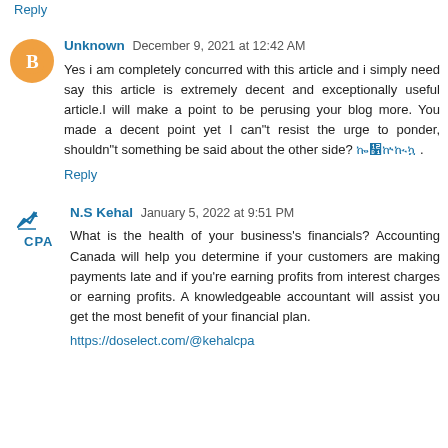Reply
Unknown  December 9, 2021 at 12:42 AM
Yes i am completely concurred with this article and i simply need say this article is extremely decent and exceptionally useful article.I will make a point to be perusing your blog more. You made a decent point yet I can"t resist the urge to ponder, shouldn"t something be said about the other side? ሰዉነት .
Reply
N.S Kehal  January 5, 2022 at 9:51 PM
What is the health of your business's financials? Accounting Canada will help you determine if your customers are making payments late and if you're earning profits from interest charges or earning profits. A knowledgeable accountant will assist you get the most benefit of your financial plan.
https://doselect.com/@kehalcpa